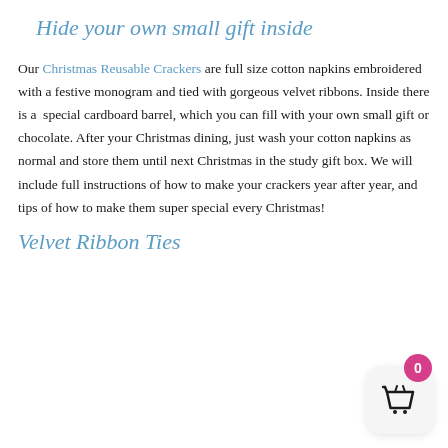Hide your own small gift inside
Our Christmas Reusable Crackers are full size cotton napkins embroidered with a festive monogram and tied with gorgeous velvet ribbons. Inside there is a  special cardboard barrel, which you can fill with your own small gift or chocolate. After your Christmas dining, just wash your cotton napkins as normal and store them until next Christmas in the study gift box. We will include full instructions of how to make your crackers year after year, and tips of how to make them super special every Christmas!
Velvet Ribbon Ties